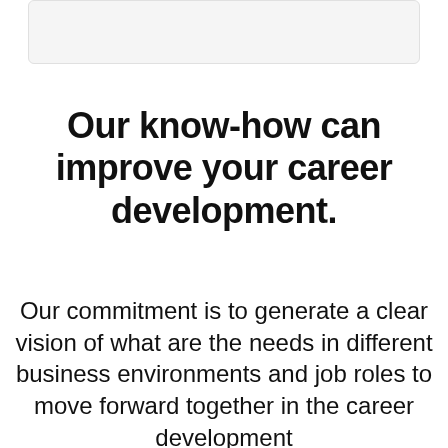Our know-how can improve your career development.
Our commitment is to generate a clear vision of what are the needs in different business environments and job roles to move forward together in the career development